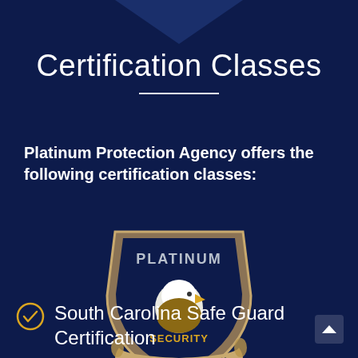Certification Classes
Platinum Protection Agency offers the following certification classes:
[Figure (logo): Platinum Security Protection Agency LLC shield logo with bald eagle and yellow 'SECURITY' text]
South Carolina Safe Guard Certification